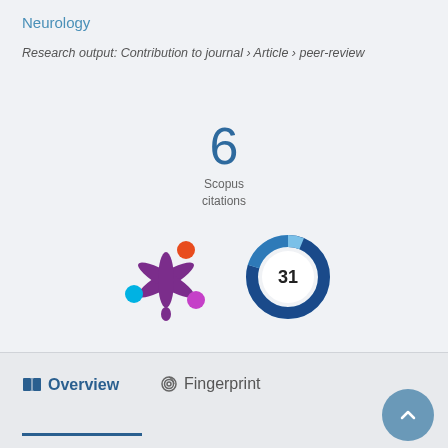Neurology
Research output: Contribution to journal › Article › peer-review
6
Scopus
citations
[Figure (logo): Altmetric logo — purple asterisk shape with colored circles (orange, cyan, magenta) at the tips]
[Figure (donut-chart): Circular badge showing score 31, rendered as a blue swirling donut/ring with white center showing number 31]
Overview
Fingerprint